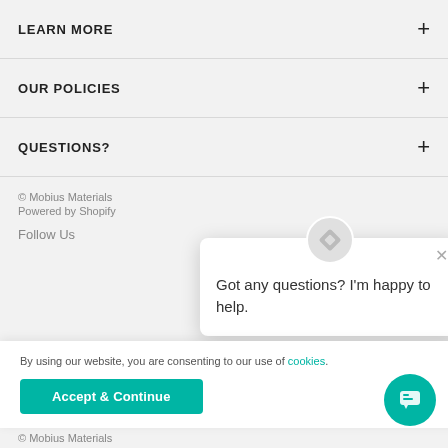LEARN MORE
OUR POLICIES
QUESTIONS?
© Mobius Materials
Powered by Shopify
Follow Us
Got any questions? I'm happy to help.
By using our website, you are consenting to our use of cookies.
Accept & Continue
© Mobius Materials